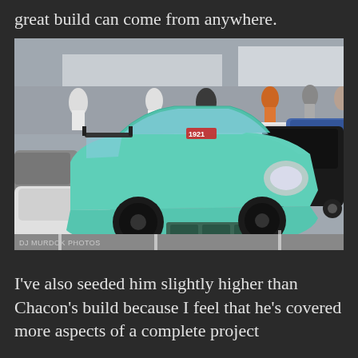great build can come from anywhere.
[Figure (photo): A mint/teal green Honda Civic hatchback with wide body kit, lowered stance, and black wheels shown at a car show parking lot surrounded by other modified vehicles and spectators. Photo credit: DJ MURDOK PHOTOS]
I've also seeded him slightly higher than Chacon's build because I feel that he's covered more aspects of a complete project